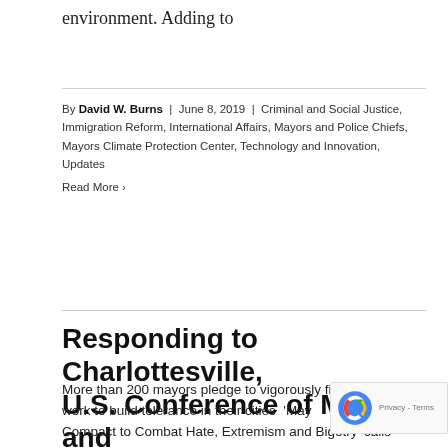environment. Adding to
By David W. Burns | June 8, 2019 | Criminal and Social Justice, Immigration Reform, International Affairs, Mayors and Police Chiefs, Mayors Climate Protection Center, Technology and Innovation, Updates
Read More ›
Responding to Charlottesville, U.S. Conference of Mayors and ADL Join on Action Plan to Combat Hate, Extremism & Discrimination
More than 200 mayors pledge to vigorously fight bigotry, work to build tolerance in their cities 'Mayors Compact to Combat Hate, Extremism and Bigotry' calls